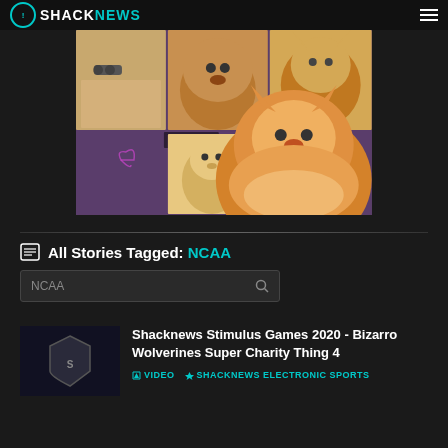SHACKNEWS
[Figure (photo): A collage of dog photos on a purple background. Shows multiple dog breeds including a Labrador with sunglasses, a Chow Chow, a tiger (or similar), a Corgi, a Golden Retriever labeled 'Rondo', and a large fluffy Pomeranian in the foreground.]
All Stories Tagged: NCAA
NCAA
Shacknews Stimulus Games 2020 - Bizarro Wolverines Super Charity Thing 4
VIDEO  SHACKNEWS ELECTRONIC SPORTS